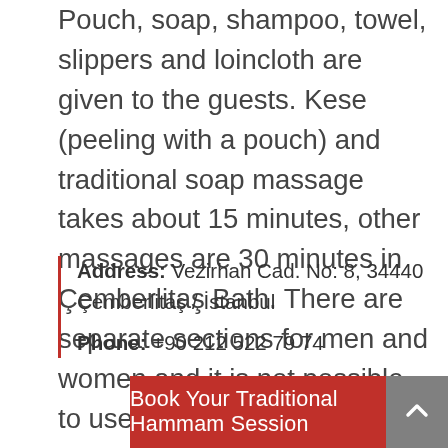Pouch, soap, shampoo, towel, slippers and loincloth are given to the guests. Kese (peeling with a pouch) and traditional soap massage takes about 15 minutes, other massages are 30 minutes in Çemberlitaş Bath. There are separate sections for men and women and it is not possible to use the same space as a couple.
Address: Vezirhan Cad. No: 8, 34440 Çemberlitaş / İstanbul
Phone: +90 212 522 79 74
Book Your Traditional Hammam Session